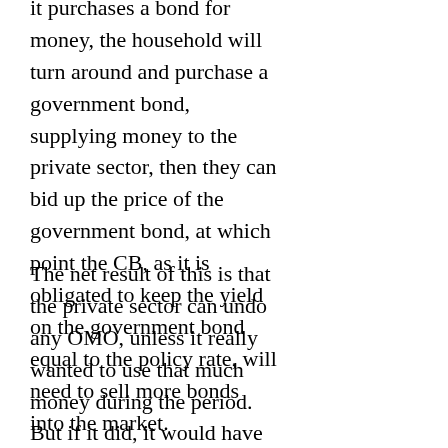it purchases a bond for money, the household will turn around and purchase a government bond, supplying money to the private sector, then they can bid up the price of the government bond, at which point the CB, as it is obligated to keep the yield on the government bond equal to the policy rate, will need to sell more bonds into the market.
The net result of this is that the private sector can undo any OMO, unless it really wanted to use that much money during the period. But if it did, it would have withdrawn that much money in the first